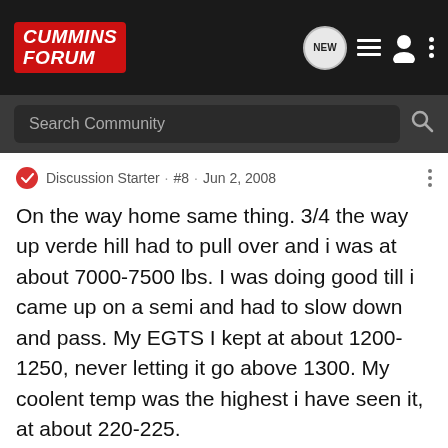Cummins Forum
Search Community
Discussion Starter · #8 · Jun 2, 2008
On the way home same thing. 3/4 the way up verde hill had to pull over and i was at about 7000-7500 lbs. I was doing good till i came up on a semi and had to slow down and pass. My EGTS I kept at about 1200-1250, never letting it go above 1300. My coolent temp was the highest i have seen it, at about 220-225.
2003 5.9L 2500hd Smarty, silencer ring MIA, 5" Farmboy exhaust, 315 Nitto Dune Grapplers, A piller egt, boost, tranny, amsoil bypass
[Figure (screenshot): Diesel Auto Power .com advertisement banner]